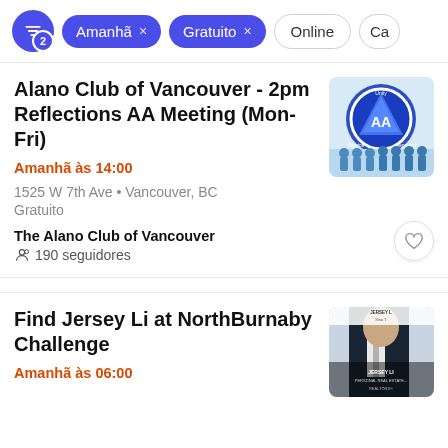Filter bar with active filters: Amanhã, Gratuito; inactive: Online, Ca...
Alano Club of Vancouver - 2pm Reflections AA Meeting (Mon-Fri)
Amanhã às 14:00
1525 W 7th Ave • Vancouver, BC
Gratuito
The Alano Club of Vancouver
190 seguidores
Find Jersey Li at NorthBurnaby Challenge
Amanhã às 06:00